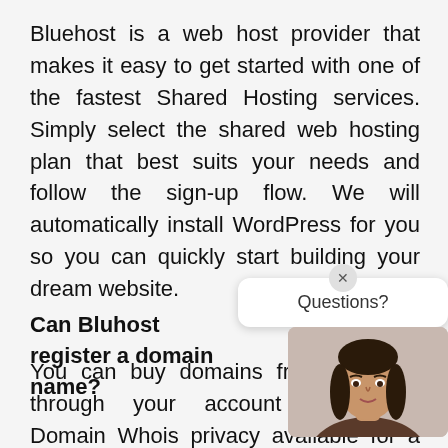Bluehost is a web host provider that makes it easy to get started with one of the fastest Shared Hosting services. Simply select the shared web hosting plan that best suits your needs and follow the sign-up flow. We will automatically install WordPress for you so you can quickly start building your dream website.
Can Bluhost register a domain name?
You can buy domains from Bluehost through your account dashboard. Domain Whois privacy available for a small yearly cost. You can get one